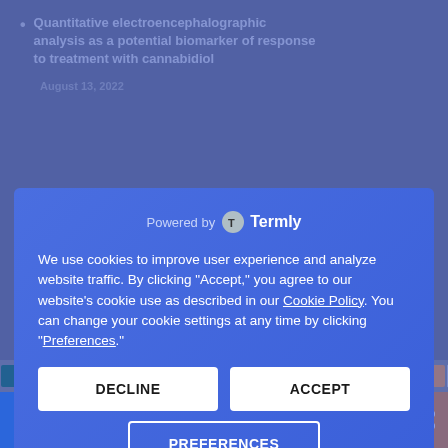Quantitative electroencephalographic analysis as a potential biomarker of response to treatment with cannabidiol
August 13, 2022
Powered by Termly
We use cookies to improve user experience and analyze website traffic. By clicking "Accept," you agree to our website's cookie use as described in our Cookie Policy. You can change your cookie settings at any time by clicking "Preferences".
DECLINE
ACCEPT
PREFERENCES